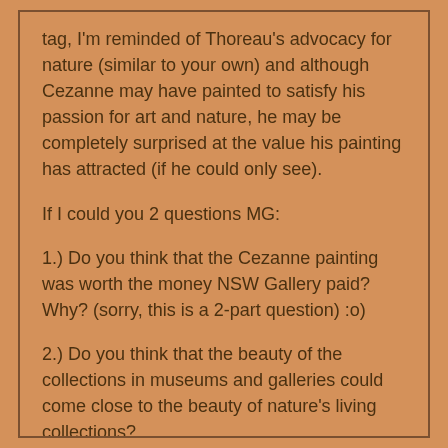tag, I'm reminded of Thoreau's advocacy for nature (similar to your own) and although Cezanne may have painted to satisfy his passion for art and nature, he may be completely surprised at the value his painting has attracted (if he could only see).
If I could you 2 questions MG:
1.) Do you think that the Cezanne painting was worth the money NSW Gallery paid? Why? (sorry, this is a 2-part question) :o)
2.) Do you think that the beauty of the collections in museums and galleries could come close to the beauty of nature's living collections?